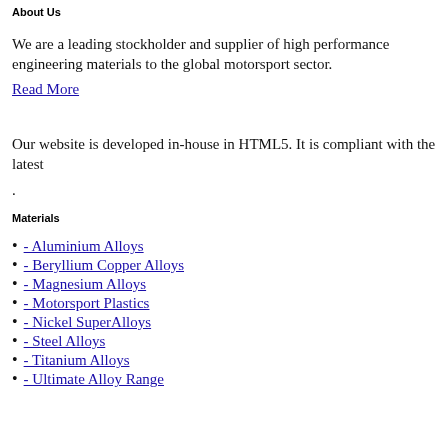About Us
We are a leading stockholder and supplier of high performance engineering materials to the global motorsport sector.
Read More
Our website is developed in-house in HTML5. It is compliant with the latest
.
Materials
- Aluminium Alloys
- Beryllium Copper Alloys
- Magnesium Alloys
- Motorsport Plastics
- Nickel SuperAlloys
- Steel Alloys
- Titanium Alloys
- Ultimate Alloy Range